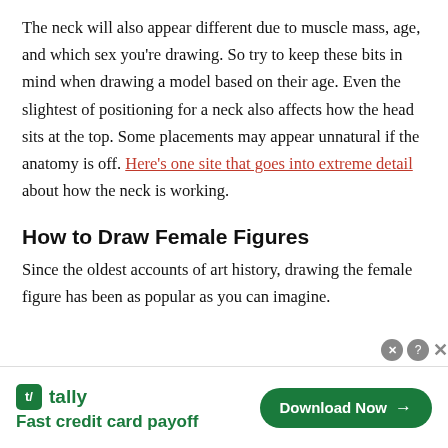The neck will also appear different due to muscle mass, age, and which sex you're drawing. So try to keep these bits in mind when drawing a model based on their age. Even the slightest of positioning for a neck also affects how the head sits at the top. Some placements may appear unnatural if the anatomy is off. Here's one site that goes into extreme detail about how the neck is working.
How to Draw Female Figures
Since the oldest accounts of art history, drawing the female figure has been as popular as you can imagine.
[Figure (other): Advertisement banner for Tally app — 'Fast credit card payoff' with a 'Download Now' button]